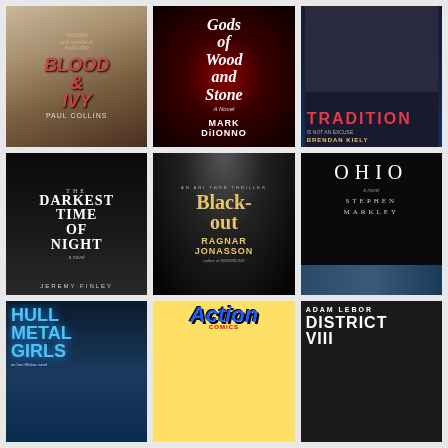[Figure (photo): Book cover: Blood & Ivy by Paul Collins]
[Figure (photo): Book cover: Gods of Wood and Stone by Mark DiIonno]
[Figure (photo): Book cover: Tradition by Brendan Kiely]
[Figure (photo): Book cover: The Darkest Time of Night by Jeremy Finley]
[Figure (photo): Book cover: Blackout by Ragnar Jonasson]
[Figure (photo): Book cover: Ohio by Stephen Markley]
[Figure (photo): Book cover: Hull Metal Girls]
[Figure (photo): Book cover: Action Comics featuring Superman]
[Figure (photo): Book cover: District VIII by Adam Lebor]